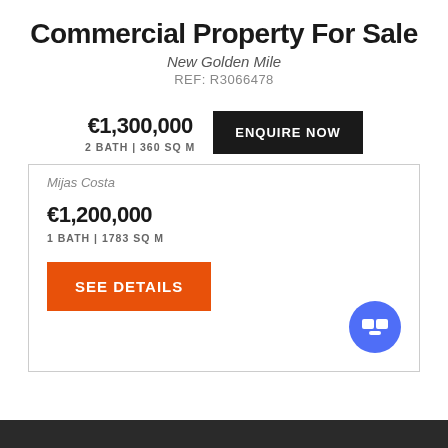Commercial Property For Sale
New Golden Mile
REF: R3066478
€1,300,000
2 BATH | 360 SQ M
ENQUIRE NOW
Mijas Costa
€1,200,000
1 BATH | 1783 SQ M
SEE DETAILS